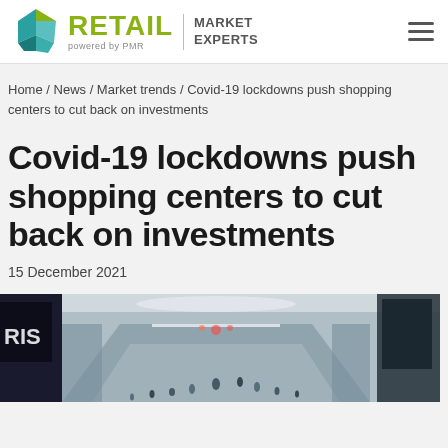RETAIL powered by PMR | MARKET EXPERTS
Home / News / Market trends / Covid-19 lockdowns push shopping centers to cut back on investments
Covid-19 lockdowns push shopping centers to cut back on investments
15 December 2021
[Figure (photo): Aerial/overhead view of a busy indoor shopping mall with many shoppers visible walking through the center, store fronts visible on sides]